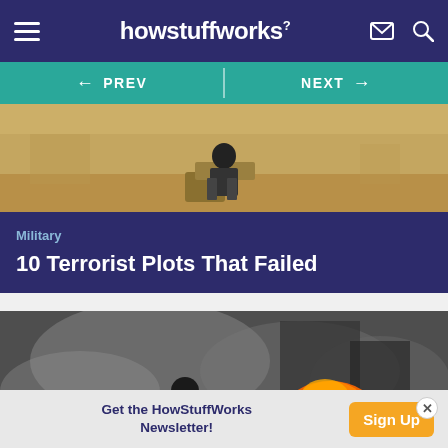howstuffworks
[Figure (screenshot): Navigation bar with PREV and NEXT arrows on teal background]
[Figure (photo): Person crouching on barrels in a sandy outdoor setting]
Military
10 Terrorist Plots That Failed
[Figure (photo): Smoky scene with fire and people in the background]
Get the HowStuffWorks Newsletter!
Sign Up